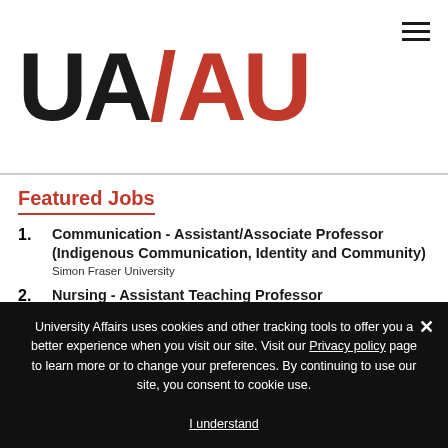UA/AU University Affairs logo with hamburger menu
Featured Jobs
1. Communication - Assistant/Associate Professor (Indigenous Communication, Identity and Community)
Simon Fraser University
2. Nursing - Assistant Teaching Professor
University of New Brunswick (Moncton)
3. Canada Research Chair (Tier 2) in Intelligent Robotics
Western University
4. Manager - Talent Acquisition, Learning & Inclusion
Okanagan College (Kelowna)
University Affairs uses cookies and other tracking tools to offer you a better experience when you visit our site. Visit our Privacy policy page to learn more or to change your preferences. By continuing to use our site, you consent to cookie use.
I understand